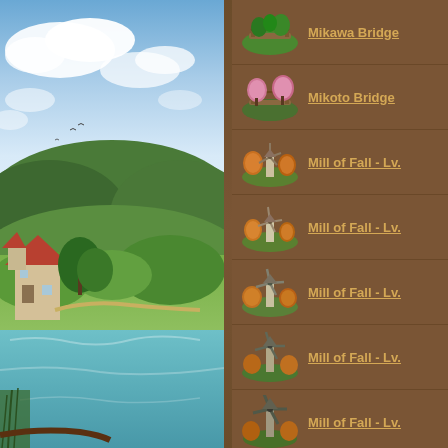[Figure (illustration): Fantasy game landscape illustration showing a riverside village scene with a medieval house, green trees, rolling hills, cloudy sky, and a river in the foreground.]
Mikawa Bridge
Mikoto Bridge
Mill of Fall - Lv.
Mill of Fall - Lv.
Mill of Fall - Lv.
Mill of Fall - Lv.
Mill of Fall - Lv.